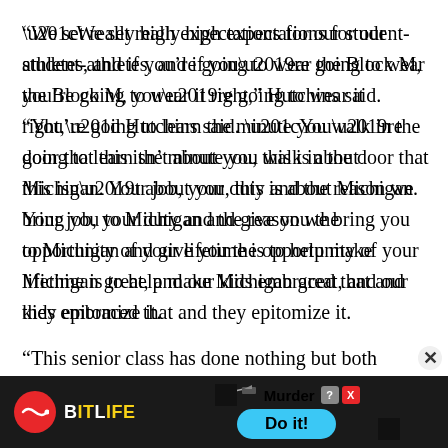“We set really high expectations for our student-athletes, and if you’re going to wear the Block M, you’re going to wear it right,” Hutchins said. “You’re going to learn the minute you walk in the door that this isn’t about you, this is about Michigan. Your job, your duty and the reason we bring you to Michigan and give you the opportunity of your lifetime is to help make Michigan great, and our kids embraced that and they epitomize it.
“This senior class has done nothing but both
[Figure (other): BitLife mobile game advertisement banner with red circle logo, yellow BITLIFE text, knife graphic, 'Murder' text, and 'Do it!' blue button]